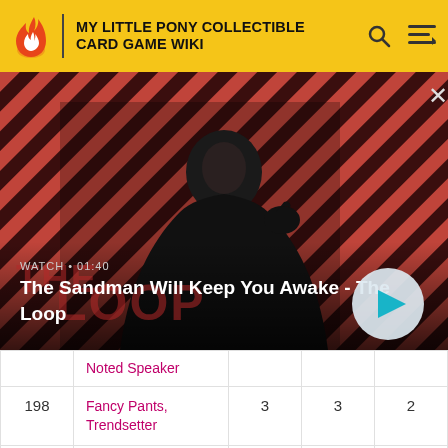MY LITTLE PONY COLLECTIBLE CARD GAME WIKI
[Figure (screenshot): Video thumbnail banner showing a dark-cloaked figure with a raven, red diagonal stripe background, titled 'The Sandman Will Keep You Awake - The Loop', with WATCH • 01:40 label and a play button]
|  | Noted Speaker |  |  |  |
| --- | --- | --- | --- | --- |
| 198 | Fancy Pants, Trendsetter | 3 | 3 | 2 |
| 199 | Sweetie Belle, Doting Sister | 1 | 2 | 1 |